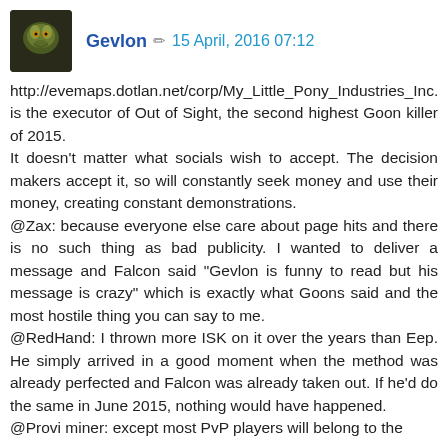Gevlon  15 April, 2016 07:12
http://evemaps.dotlan.net/corp/My_Little_Pony_Industries_Inc. is the executor of Out of Sight, the second highest Goon killer of 2015.
It doesn't matter what socials wish to accept. The decision makers accept it, so will constantly seek money and use their money, creating constant demonstrations.
@Zax: because everyone else care about page hits and there is no such thing as bad publicity. I wanted to deliver a message and Falcon said "Gevlon is funny to read but his message is crazy" which is exactly what Goons said and the most hostile thing you can say to me.
@RedHand: I thrown more ISK on it over the years than Eep. He simply arrived in a good moment when the method was already perfected and Falcon was already taken out. If he'd do the same in June 2015, nothing would have happened.
@Provi miner: except most PvP players will belong to the